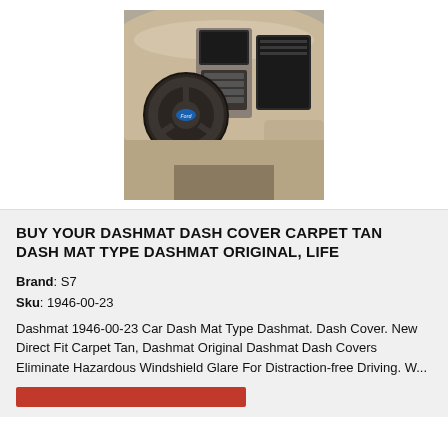[Figure (photo): Interior view of a car dashboard showing steering wheel, center console, navigation screen, and beige/tan dashboard cover]
BUY YOUR DASHMAT DASH COVER CARPET TAN DASH MAT TYPE DASHMAT ORIGINAL, LIFE
Brand: S7
Sku: 1946-00-23
Dashmat 1946-00-23 Car Dash Mat Type Dashmat. Dash Cover. New Direct Fit Carpet Tan, Dashmat Original Dashmat Dash Covers Eliminate Hazardous Windshield Glare For Distraction-free Driving. W...